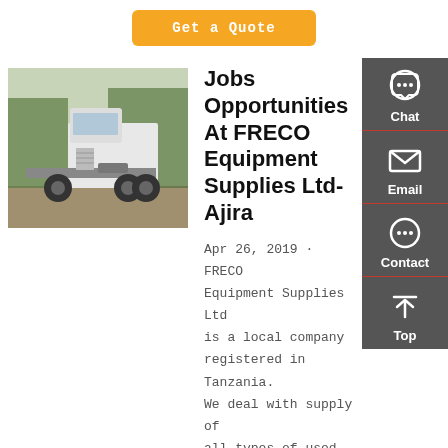Get a Quote
[Figure (photo): White heavy truck/tractor unit parked in a yard with trees in background]
Jobs Opportunities At FRECO Equipment Supplies Ltd- Ajira
Apr 26, 2019 · FRECO Equipment Supplies Ltd is a local company registered in Tanzania. We deal with supply of all types of used equipment, brand new XCMG Equipment and Brand...
Chat
Email
Contact
Top